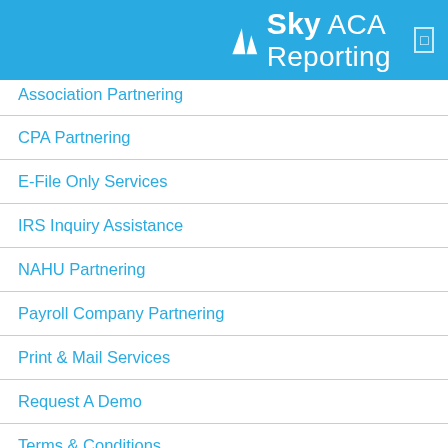Sky ACA Reporting
Association Partnering
CPA Partnering
E-File Only Services
IRS Inquiry Assistance
NAHU Partnering
Payroll Company Partnering
Print & Mail Services
Request A Demo
Terms & Conditions
TIN Error Reconciliation